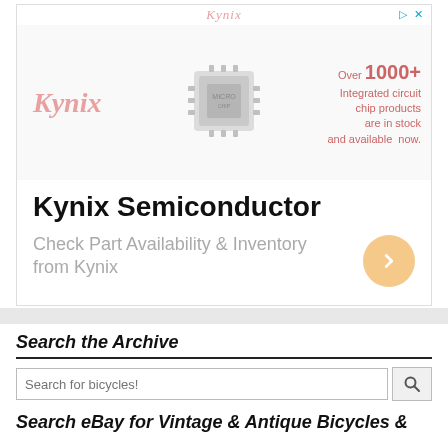[Figure (screenshot): Kynix Semiconductor advertisement banner with logo, chip image, and text 'Over 1000+ Integrated circuit chip products are in stock and available now.' with main heading 'Kynix Semiconductor' and subtext 'Check Part Availability & Inventory from Kynix']
Search the Archive
Search for bicycles!
Search eBay for Vintage & Antique Bicycles &